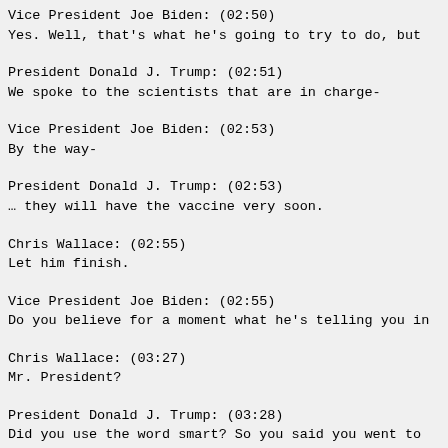Vice President Joe Biden: (02:50)
Yes. Well, that's what he's going to try to do, but
President Donald J. Trump: (02:51)
We spoke to the scientists that are in charge-
Vice President Joe Biden: (02:53)
By the way-
President Donald J. Trump: (02:53)
… they will have the vaccine very soon.
Chris Wallace: (02:55)
Let him finish.
Vice President Joe Biden: (02:55)
Do you believe for a moment what he's telling you in
Chris Wallace: (03:27)
Mr. President?
President Donald J. Trump: (03:28)
Did you use the word smart? So you said you went to
Vice President Joe Biden: (03:44)